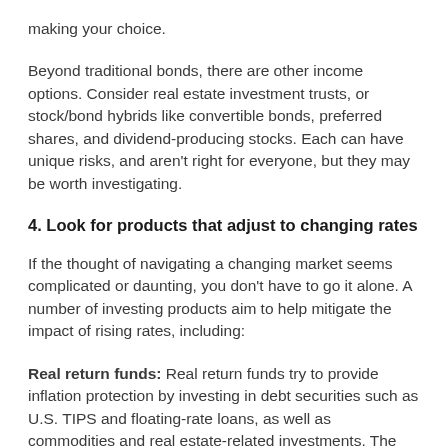making your choice.
Beyond traditional bonds, there are other income options. Consider real estate investment trusts, or stock/bond hybrids like convertible bonds, preferred shares, and dividend-producing stocks. Each can have unique risks, and aren't right for everyone, but they may be worth investigating.
4. Look for products that adjust to changing rates
If the thought of navigating a changing market seems complicated or daunting, you don't have to go it alone. A number of investing products aim to help mitigate the impact of rising rates, including:
Real return funds: Real return funds try to provide inflation protection by investing in debt securities such as U.S. TIPS and floating-rate loans, as well as commodities and real estate-related investments. The